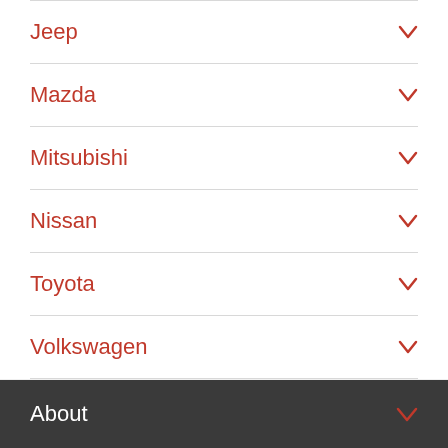Jeep
Mazda
Mitsubishi
Nissan
Toyota
Volkswagen
About